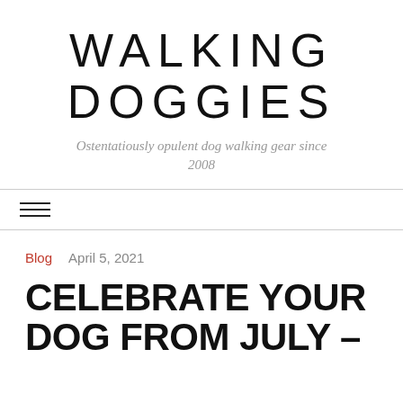WALKING DOGGIES
Ostentatiously opulent dog walking gear since 2008
[Figure (other): Hamburger menu icon with three horizontal lines]
Blog   April 5, 2021
CELEBRATE YOUR DOG FROM JULY –